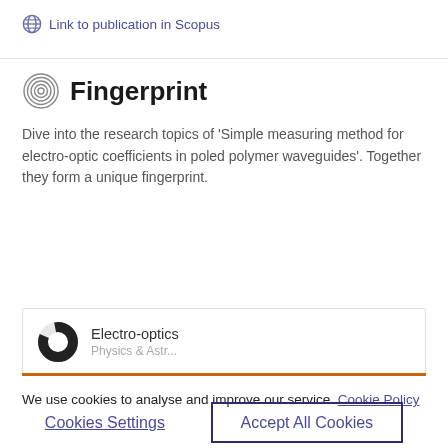Link to publication in Scopus
Fingerprint
Dive into the research topics of 'Simple measuring method for electro-optic coefficients in poled polymer waveguides'. Together they form a unique fingerprint.
Electro-optics Physics & Astronomy
We use cookies to analyse and improve our service. Cookie Policy
Cookies Settings
Accept All Cookies